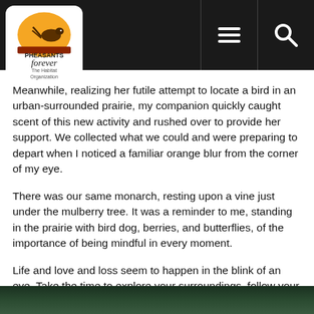Pheasants Forever — The Habitat Organization
Meanwhile, realizing her futile attempt to locate a bird in an urban-surrounded prairie, my companion quickly caught scent of this new activity and rushed over to provide her support. We collected what we could and were preparing to depart when I noticed a familiar orange blur from the corner of my eye.
There was our same monarch, resting upon a vine just under the mulberry tree. It was a reminder to me, standing in the prairie with bird dog, berries, and butterflies, of the importance of being mindful in every moment.
Life and love and loss seem to happen in the blink of an eye. Take the time to explore your surroundings, follow your desires, and always remember to pause. You never know what you might discover.
[Figure (photo): Partial view of a nature/wildlife photograph at the bottom of the page, showing dark green foliage]